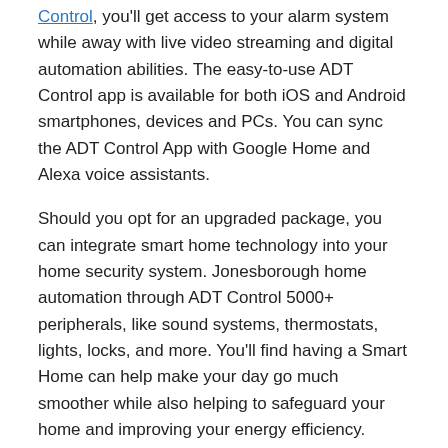Control, you'll get access to your alarm system while away with live video streaming and digital automation abilities. The easy-to-use ADT Control app is available for both iOS and Android smartphones, devices and PCs. You can sync the ADT Control App with Google Home and Alexa voice assistants.
Should you opt for an upgraded package, you can integrate smart home technology into your home security system. Jonesborough home automation through ADT Control 5000+ peripherals, like sound systems, thermostats, lights, locks, and more. You'll find having a Smart Home can help make your day go much smoother while also helping to safeguard your home and improving your energy efficiency.
Feel Secure with Expert Home